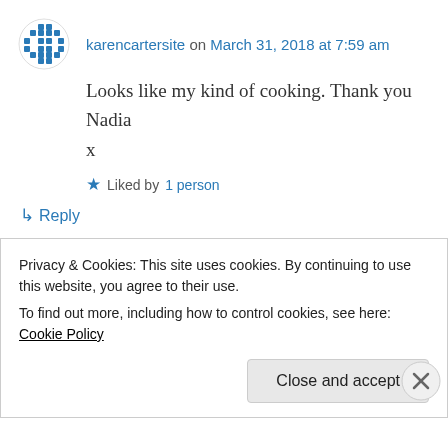karencartersite on March 31, 2018 at 7:59 am
Looks like my kind of cooking. Thank you Nadia
x
Liked by 1 person
↳ Reply
Nadia on March 31, 2018 at 12:06 pm
A delicious one pot dish.
Privacy & Cookies: This site uses cookies. By continuing to use this website, you agree to their use.
To find out more, including how to control cookies, see here: Cookie Policy
Close and accept